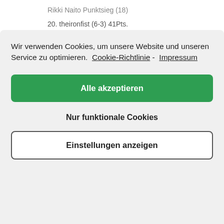Rikki Naito Punktsieg (18)
20. theironfist (6-3) 41Pts.
Wir verwenden Cookies, um unsere Website und unseren Service zu optimieren.  Cookie-Richtlinie  -  Impressum
Alle akzeptieren
Nur funktionale Cookies
Einstellungen anzeigen
Achour PTS (-5)
Skorokhod TKO4 (15)
Adams PTS (8)
Hardy PTS (-5)